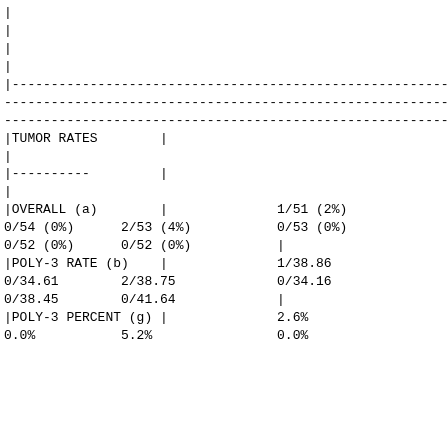| | |  |  |  |
| | |  |  |  |
| | |  |  |  |
| | |  |  |  |
| |------------------------------------------------------------ |  |  |  |
| ------------------------------------------------------------ |  |  |  |
| ---------------------------------------------------------------| |  |  |  |
| |TUMOR RATES | | |  |  |
| | |  |  |  |
| |---------- | | |  |  |
| | |  |  |  |
| |OVERALL (a) | | | 1/51 (2%) |  |
| 0/54 (0%) | 2/53 (4%) | 0/53 (0%) |  |
| 0/52 (0%) | 0/52 (0%) | | |  |
| |POLY-3 RATE (b) | | | 1/38.86 |  |
| 0/34.61 | 2/38.75 | 0/34.16 |  |
| 0/38.45 | 0/41.64 | | |  |
| |POLY-3 PERCENT (g) | | | 2.6% |  |
| 0.0% | 5.2% | 0.0% |  |